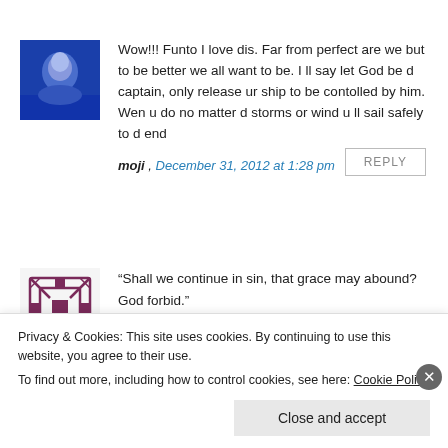[Figure (photo): Small avatar photo of a person with blue tones]
Wow!!! Funto I love dis. Far from perfect are we but to be better we all want to be. I ll say let God be d captain, only release ur ship to be contolled by him. Wen u do no matter d storms or wind u ll sail safely to d end
moji , December 31, 2012 at 1:28 pm
[Figure (illustration): Decorative geometric/snowflake pattern avatar in purple/maroon]
“Shall we continue in sin, that grace may abound? God forbid.” This Bible verse haunts me. I’m still lost. I won’t deny it.
Privacy & Cookies: This site uses cookies. By continuing to use this website, you agree to their use. To find out more, including how to control cookies, see here: Cookie Policy